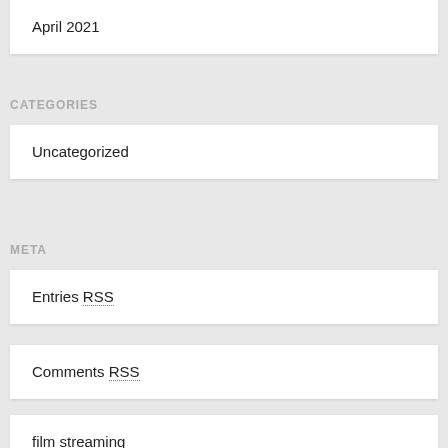April 2021
CATEGORIES
Uncategorized
META
Entries RSS
Comments RSS
film streaming